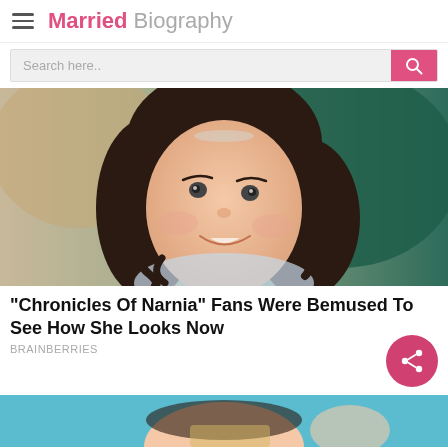Married Biography
[Figure (photo): Young girl with dark curly hair smiling, wearing a light-colored outfit, photographed against a blurred green background]
"Chronicles Of Narnia" Fans Were Bemused To See How She Looks Now
BRAINBERRIES
[Figure (photo): Partial view of a person, bottom portion of image with teal/blue background]
Next Bio >> Danny Nucci